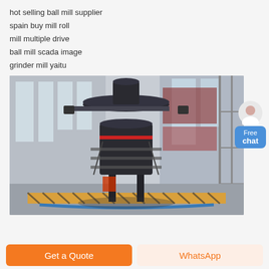hot selling ball mill supplier
spain buy mill roll
mill multiple drive
ball mill scada image
grinder mill yaitu
[Figure (photo): Large industrial vertical mill machine (possibly a Raymond or vertical roller mill) photographed inside a factory/warehouse building with large windows and steel scaffolding. The machine is black with orange/yellow safety markings on the floor around its base. The industrial interior has high ceilings with natural light coming through tall windows.]
Free chat
Get a Quote
WhatsApp